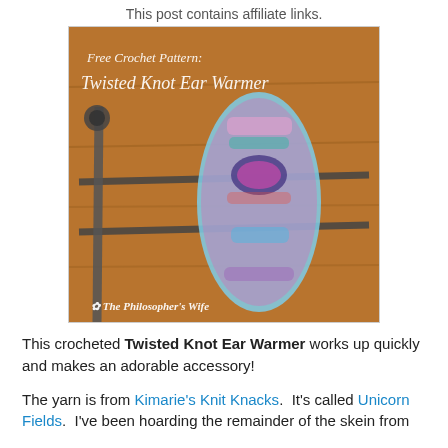This post contains affiliate links.
[Figure (photo): Photo of a crocheted Twisted Knot Ear Warmer draped over a metal rack with a wooden background. Overlay text reads 'Free Crochet Pattern: Twisted Knot Ear Warmer' and 'The Philosopher's Wife' at the bottom.]
This crocheted Twisted Knot Ear Warmer works up quickly and makes an adorable accessory!
The yarn is from Kimarie's Knit Knacks.  It's called Unicorn Fields.  I've been hoarding the remainder of the skein from